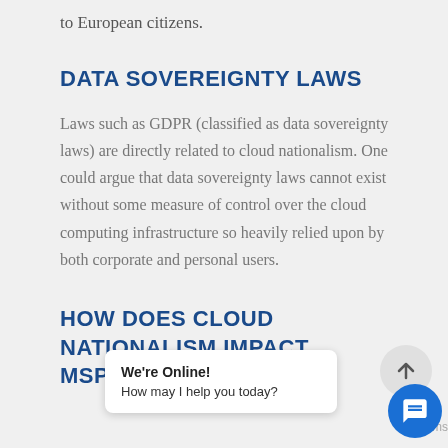to European citizens.
DATA SOVEREIGNTY LAWS
Laws such as GDPR (classified as data sovereignty laws) are directly related to cloud nationalism. One could argue that data sovereignty laws cannot exist without some measure of control over the cloud computing infrastructure so heavily relied upon by both corporate and personal users.
HOW DOES CLOUD NATIONALISM IMPACT MSPS?